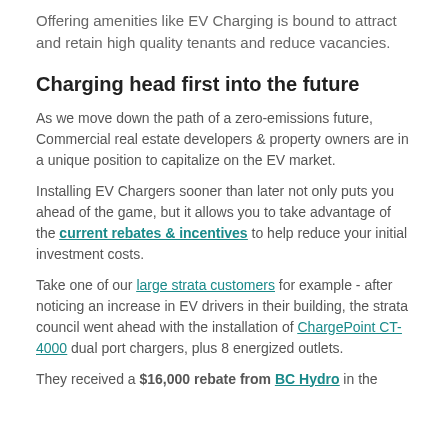Offering amenities like EV Charging is bound to attract and retain high quality tenants and reduce vacancies.
Charging head first into the future
As we move down the path of a zero-emissions future, Commercial real estate developers & property owners are in a unique position to capitalize on the EV market.
Installing EV Chargers sooner than later not only puts you ahead of the game, but it allows you to take advantage of the current rebates & incentives to help reduce your initial investment costs.
Take one of our large strata customers for example - after noticing an increase in EV drivers in their building, the strata council went ahead with the installation of ChargePoint CT-4000 dual port chargers, plus 8 energized outlets.
They received a $16,000 rebate from BC Hydro in the...